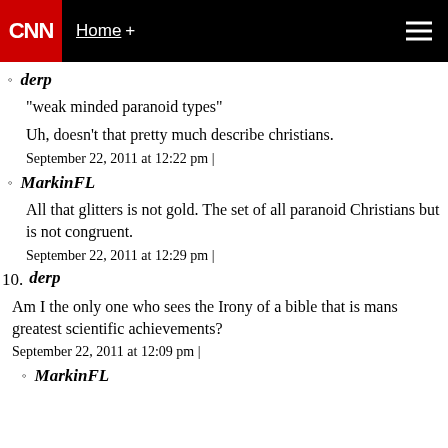CNN Home +
derp
"weak minded paranoid types"
Uh, doesn't that pretty much describe christians.
September 22, 2011 at 12:22 pm |
MarkinFL
All that glitters is not gold. The set of all paranoid Christians but is not congruent.
September 22, 2011 at 12:29 pm |
10. derp
Am I the only one who sees the Irony of a bible that is mans greatest scientific achievements?
September 22, 2011 at 12:09 pm |
MarkinFL